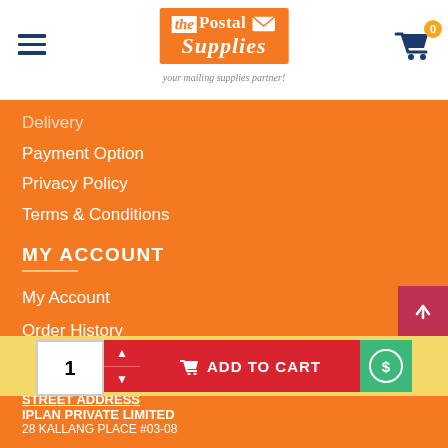[Figure (logo): The Postal Supplies logo with orange background, envelope icon, and tagline 'your mailing supplies partner!']
Delivery
Payment Option
Privacy Policy
Terms & Conditions
MY ACCOUNT
My Account
Order History
Newsletter
CUSTOMER SERVICE
IPLAN PRIVATE LIMITED
28 KALLANG PLACE #03-08